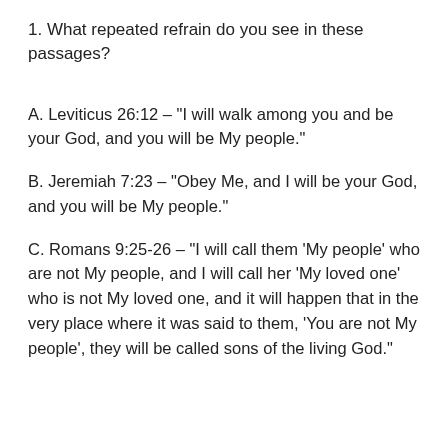1. What repeated refrain do you see in these passages?
A. Leviticus 26:12 – “I will walk among you and be your God, and you will be My people.”
B. Jeremiah 7:23 – “Obey Me, and I will be your God, and you will be My people.”
C. Romans 9:25-26 – “I will call them ‘My people’ who are not My people, and I will call her ‘My loved one’ who is not My loved one, and it will happen that in the very place where it was said to them, ‘You are not My people’, they will be called sons of the living God.”